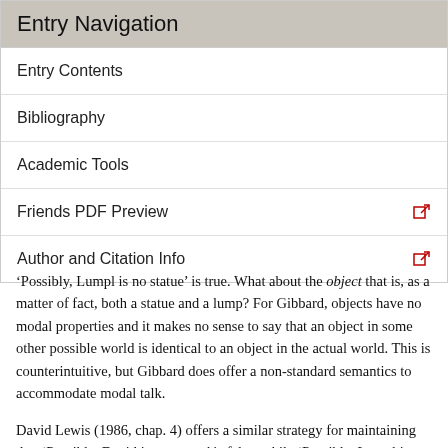Entry Navigation
Entry Contents
Bibliography
Academic Tools
Friends PDF Preview
Author and Citation Info
‘Possibly, Lumpl is no statue’ is true. What about the object that is, as a matter of fact, both a statue and a lump? For Gibbard, objects have no modal properties and it makes no sense to say that an object in some other possible world is identical to an object in the actual world. This is counterintuitive, but Gibbard does offer a non-standard semantics to accommodate modal talk.
David Lewis (1986, chap. 4) offers a similar strategy for maintaining that ‘Possibly, David is no statue’ is false, while ‘Possibly, Lumpl is no statue’ is true. For Lewis, what makes a sentence like the above true or false is